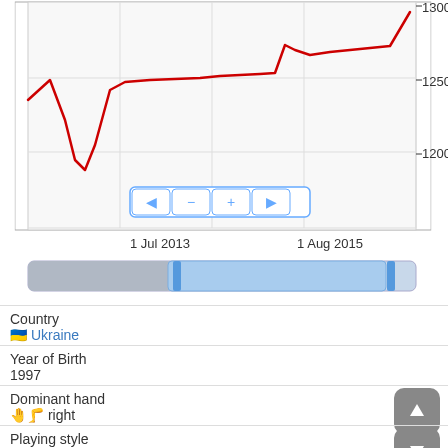[Figure (continuous-plot): Line chart showing chess/game rating over time (approx 1200-1300 range) with a red line, x-axis labels '1 Jul 2013' and '1 Aug 2015', y-axis labels 1200, 1250, 1300, navigation buttons (back, minus, plus, forward), and a range slider bar below the chart.]
Country
🇺🇦 Ukraine
Year of Birth
1997
Dominant hand
right
Playing style
attack